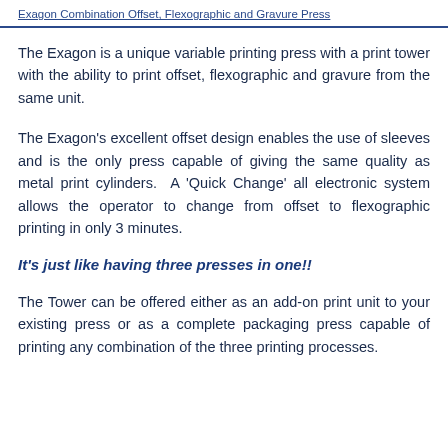Exagon Combination Offset, Flexographic and Gravure Press
The Exagon is a unique variable printing press with a print tower with the ability to print offset, flexographic and gravure from the same unit.
The Exagon's excellent offset design enables the use of sleeves and is the only press capable of giving the same quality as metal print cylinders. A 'Quick Change' all electronic system allows the operator to change from offset to flexographic printing in only 3 minutes.
It's just like having three presses in one!!
The Tower can be offered either as an add-on print unit to your existing press or as a complete packaging press capable of printing any combination of the three printing processes.